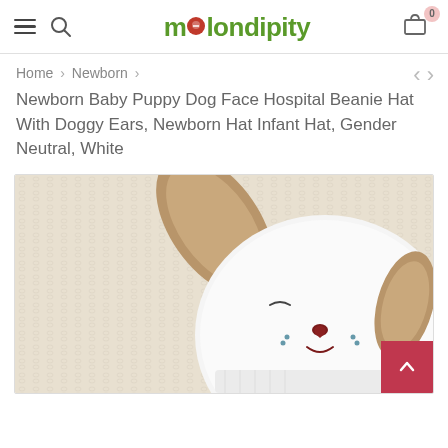melondipity — navigation header with hamburger menu, search, logo, and cart (0 items)
Home > Newborn >
Newborn Baby Puppy Dog Face Hospital Beanie Hat With Doggy Ears, Newborn Hat Infant Hat, Gender Neutral, White
[Figure (photo): Close-up photo of a white newborn baby beanie hat shaped like a puppy dog face with floppy tan/brown ears, embroidered nose and mouth details, resting on a cream knit textile background.]